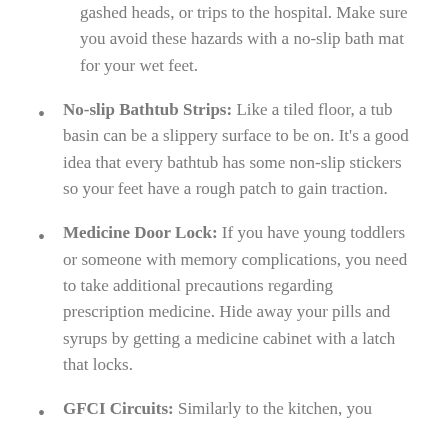gashed heads, or trips to the hospital. Make sure you avoid these hazards with a no-slip bath mat for your wet feet.
No-slip Bathtub Strips: Like a tiled floor, a tub basin can be a slippery surface to be on. It's a good idea that every bathtub has some non-slip stickers so your feet have a rough patch to gain traction.
Medicine Door Lock: If you have young toddlers or someone with memory complications, you need to take additional precautions regarding prescription medicine. Hide away your pills and syrups by getting a medicine cabinet with a latch that locks.
GFCI Circuits: Similarly to the kitchen, you